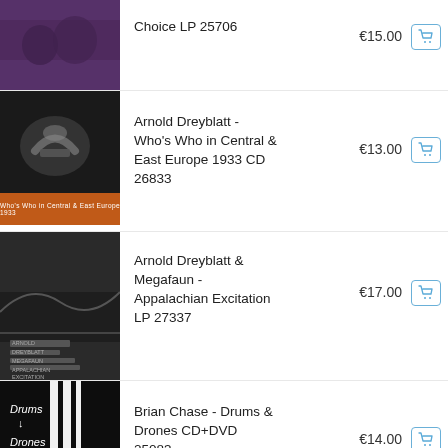[Figure (photo): Partial album cover for Choice LP 25706, purple/dark tones showing people]
Choice LP 25706
€15.00
[Figure (photo): Black and white photo of a hand, with brown/orange CD label strip below showing text]
Arnold Dreyblatt - Who's Who in Central & East Europe 1933 CD 26833
€13.00
[Figure (photo): Black and white photo of a building/trees with text overlay: ARNOLD DREYBLATT, MEGAFAUN, APPALACHIAN EXCITATION]
Arnold Dreyblatt & Megafaun - Appalachian Excitation LP 27337
€17.00
[Figure (photo): Black album cover with white vertical stripes and handwritten text: Drums, Drones, Brian Chase]
Brian Chase - Drums & Drones CD+DVD 25083
€14.00
[Figure (photo): Partial view of Catherine Christer Hennix album with header strip and blue album art]
Catherine Christer Hennix - Live @ The...